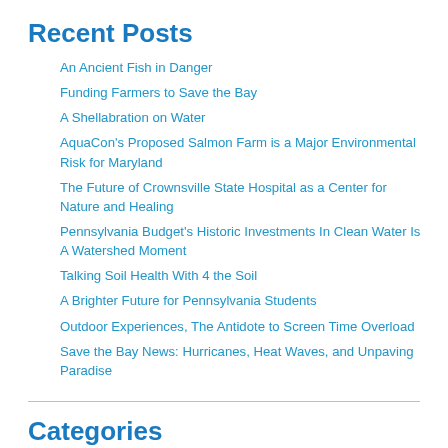Recent Posts
An Ancient Fish in Danger
Funding Farmers to Save the Bay
A Shellabration on Water
AquaCon's Proposed Salmon Farm is a Major Environmental Risk for Maryland
The Future of Crownsville State Hospital as a Center for Nature and Healing
Pennsylvania Budget's Historic Investments In Clean Water Is A Watershed Moment
Talking Soil Health With 4 the Soil
A Brighter Future for Pennsylvania Students
Outdoor Experiences, The Antidote to Screen Time Overload
Save the Bay News: Hurricanes, Heat Waves, and Unpaving Paradise
Categories